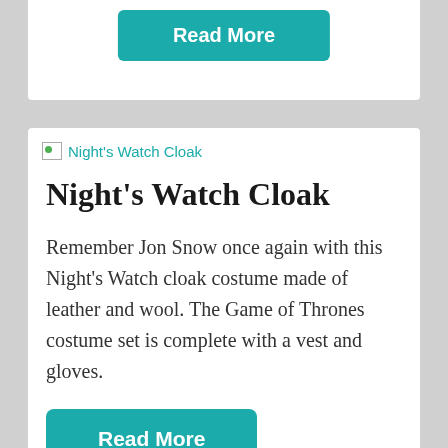Read More
[Figure (photo): Broken image placeholder for Night's Watch Cloak]
Night's Watch Cloak
Remember Jon Snow once again with this Night's Watch cloak costume made of leather and wool. The Game of Thrones costume set is complete with a vest and gloves.
Read More